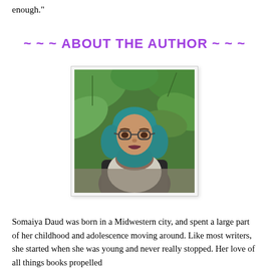enough."
~ ~ ~ ABOUT THE AUTHOR ~ ~ ~
[Figure (photo): Author photo of Somaiya Daud wearing a teal hijab with a floral scarf, glasses, and a dark jacket, standing in front of large tropical leaves.]
Somaiya Daud was born in a Midwestern city, and spent a large part of her childhood and adolescence moving around. Like most writers, she started when she was young and never really stopped. Her love of all things books propelled